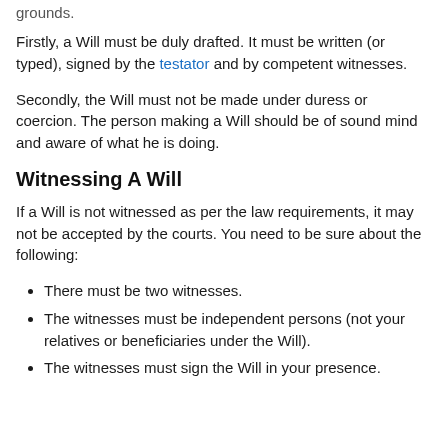grounds.
Firstly, a Will must be duly drafted. It must be written (or typed), signed by the testator and by competent witnesses.
Secondly, the Will must not be made under duress or coercion. The person making a Will should be of sound mind and aware of what he is doing.
Witnessing A Will
If a Will is not witnessed as per the law requirements, it may not be accepted by the courts. You need to be sure about the following:
There must be two witnesses.
The witnesses must be independent persons (not your relatives or beneficiaries under the Will).
The witnesses must sign the Will in your presence.